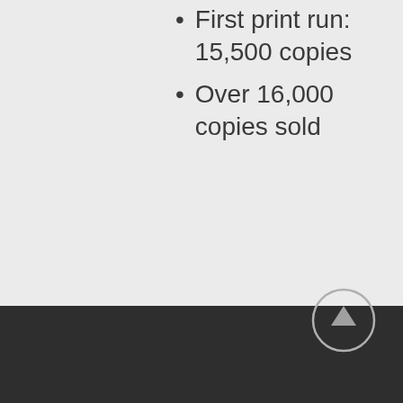First print run: 15,500 copies
Over 16,000 copies sold